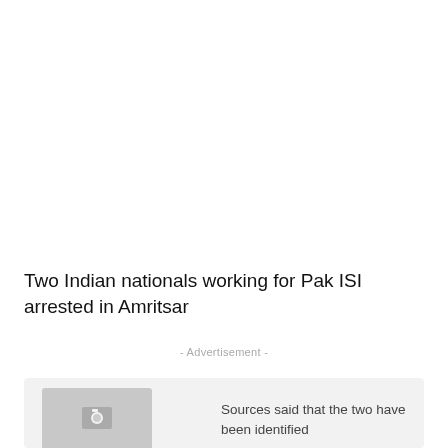Two Indian nationals working for Pak ISI arrested in Amritsar
- Advertisement -
[Figure (photo): News article image placeholder with partially visible graphic]
Sources said that the two have been identified